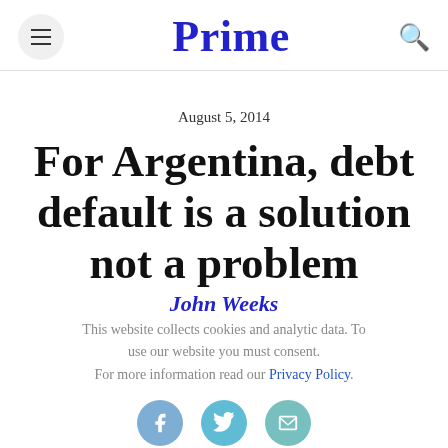Prime
August 5, 2014
For Argentina, debt default is a solution not a problem
John Weeks
This website collects cookies and analytic data. To use our website you must consent. For more information read our Privacy Policy.